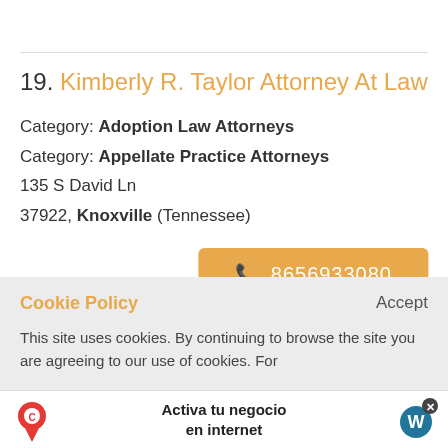19. Kimberly R. Taylor Attorney At Law
Category: Adoption Law Attorneys
Category: Appellate Practice Attorneys
135 S David Ln
37922, Knoxville (Tennessee)
8656933080
Cookie Policy
Accept
This site uses cookies. By continuing to browse the site you are agreeing to our use of cookies. For
Activa tu negocio en internet